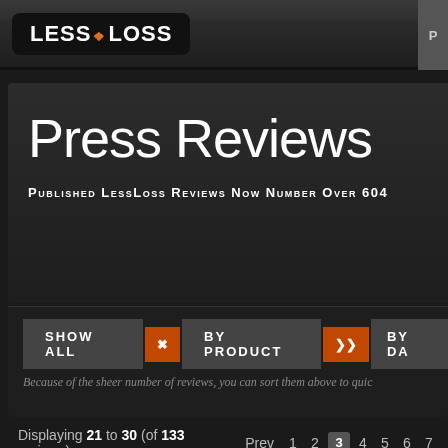LESS LOSS | P
Press Reviews
Published LessLoss Reviews Now Number Over 604
SHOW ALL  BY PRODUCT  BY DATE
Because of the sheer number of reviews, you can sort them above to quic
Displaying 21 to 30 (of 133 reviews)  Prev  1 2 3 4 5 6 7
[Figure (screenshot): Bottom card strip showing partial image of a product/content card]